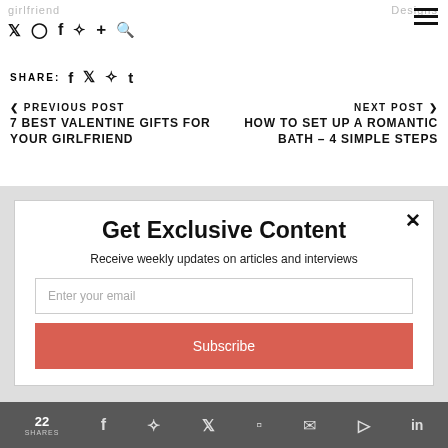girlfriend | Designs
SHARE: f t p t
< PREVIOUS POST
7 BEST VALENTINE GIFTS FOR YOUR GIRLFRIEND
NEXT POST >
HOW TO SET UP A ROMANTIC BATH – 4 SIMPLE STEPS
Get Exclusive Content
Receive weekly updates on articles and interviews
Enter your email
Subscribe
22 SHARES — social share icons: facebook, pinterest, twitter, mix, email, flipboard, linkedin